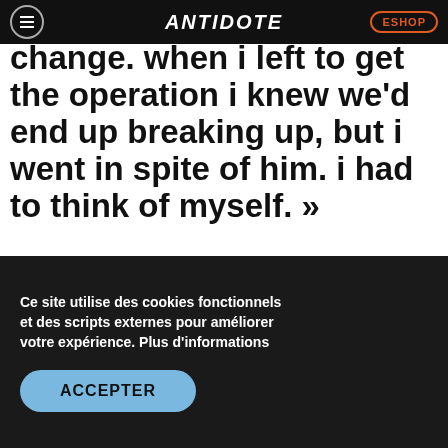ANTIDOTE — ESHOP
change. When I left to get the operation I knew we'd end up breaking up, but I went in spite of him. I had to think of myself. »
Back then trans people living in other countries had already had surgery, like the Dane Lili Elbe and the American Christine Jorgensen. But it seems to me that
Ce site utilise des cookies fonctionnels et des scripts externes pour améliorer votre expérience. Plus d'informations
ACCEPTER